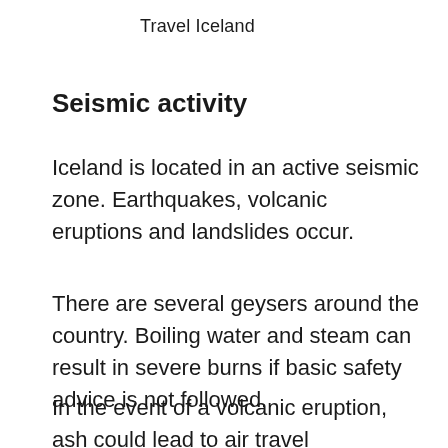Travel Iceland
Seismic activity
Iceland is located in an active seismic zone. Earthquakes, volcanic eruptions and landslides occur.
There are several geysers around the country. Boiling water and steam can result in severe burns if basic safety advice is not followed.
In the event of a volcanic eruption, ash could lead to air travel disruptions and damage vehicles. The air quality may